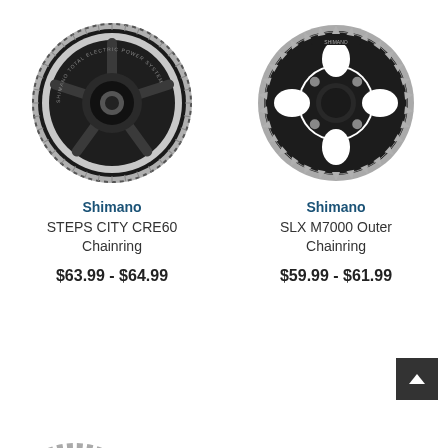[Figure (photo): Shimano STEPS CITY CRE60 Chainring product photo - circular black and silver electric bike chainring motor unit viewed from front]
Shimano STEPS CITY CRE60 Chainring
$63.99 - $64.99
[Figure (photo): Shimano SLX M7000 Outer Chainring product photo - black bicycle chainring with silver teeth viewed from front]
Shimano SLX M7000 Outer Chainring
$59.99 - $61.99